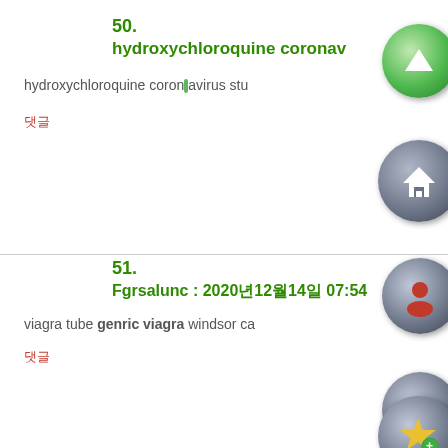50. hydroxychloroquine coronavirus study
hydroxychloroquine coronavirus stu...
댓글
51. Fgrsalunc : 2020년12월14일 07:54
viagra tube genric viagra windsor ca...
댓글
52. Dvnjpoche : 2020년12월16일 AM 11:5...